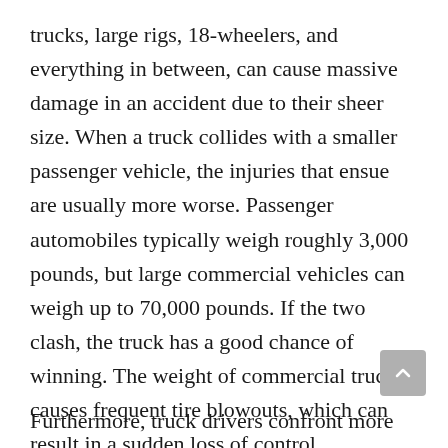trucks, large rigs, 18-wheelers, and everything in between, can cause massive damage in an accident due to their sheer size. When a truck collides with a smaller passenger vehicle, the injuries that ensue are usually more worse. Passenger automobiles typically weigh roughly 3,000 pounds, but large commercial vehicles can weigh up to 70,000 pounds. If the two clash, the truck has a good chance of winning. The weight of commercial trucks causes frequent tire blowouts, which can result in a sudden loss of control.
Furthermore, truck drivers confront more